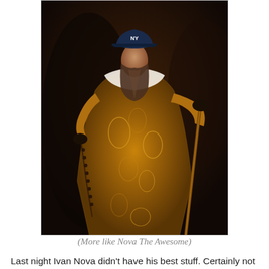[Figure (photo): A humorous photo mashup showing a figure wearing an ornate golden imperial robe holding a staff, with a modern baseball cap (New York Yankees style) digitally placed on the head. The background is dark and painterly, resembling a classical portrait painting.]
(More like Nova The Awesome)
Last night Ivan Nova didn't have his best stuff.  Certainly not the kind of stuff he had when he dominated the White Sox in his previous start.  But in place of that, he had composure, which he used to navigate his way through 6 innings of 3-run ball, results that don't speak to how well he actually was pitching before losing the strike zone in the 7th.  Nova only